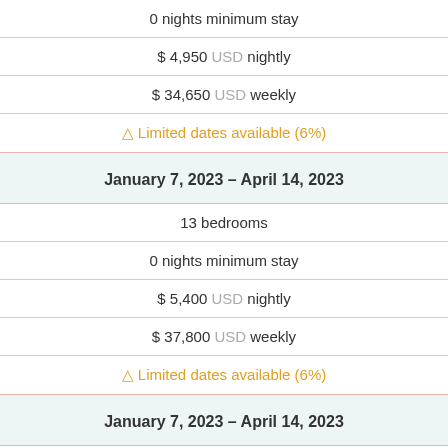0 nights minimum stay
$ 4,950 USD nightly
$ 34,650 USD weekly
⚠ Limited dates available (6%)
January 7, 2023 – April 14, 2023
13 bedrooms
0 nights minimum stay
$ 5,400 USD nightly
$ 37,800 USD weekly
⚠ Limited dates available (6%)
January 7, 2023 – April 14, 2023
14 bedrooms
0 nights minimum stay